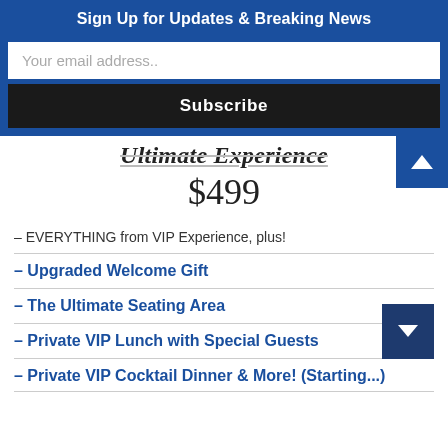Sign Up for Updates & Breaking News
Your email address..
Subscribe
Ultimate Experience
$499
– EVERYTHING from VIP Experience, plus!
– Upgraded Welcome Gift
– The Ultimate Seating Area
– Private VIP Lunch with Special Guests
– Private VIP Cocktail Dinner & More! (Starting...)